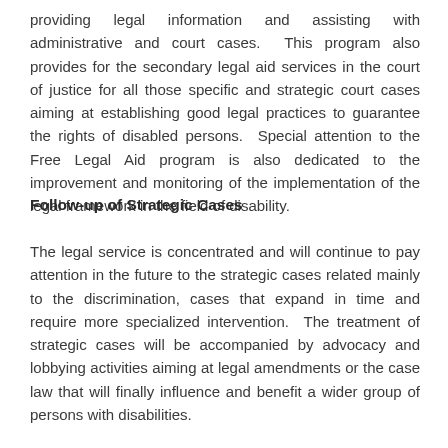providing legal information and assisting with administrative and court cases.  This program also provides for the secondary legal aid services in the court of justice for all those specific and strategic court cases aiming at establishing good legal practices to guarantee the rights of disabled persons.  Special attention to the Free Legal Aid program is also dedicated to the improvement and monitoring of the implementation of the legal framework in the field of disability.
Follow-up of Strategic Cases
The legal service is concentrated and will continue to pay attention in the future to the strategic cases related mainly to the discrimination, cases that expand in time and require more specialized intervention.  The treatment of strategic cases will be accompanied by advocacy and lobbying activities aiming at legal amendments or the case law that will finally influence and benefit a wider group of persons with disabilities.